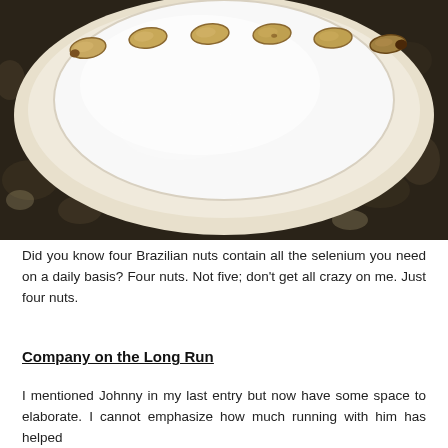[Figure (photo): Overhead photo of six Brazilian nuts arranged in a row on a white ceramic plate, which sits on a larger white plate, on a dark granite countertop.]
Did you know four Brazilian nuts contain all the selenium you need on a daily basis? Four nuts. Not five; don't get all crazy on me. Just four nuts.
Company on the Long Run
I mentioned Johnny in my last entry but now have some space to elaborate. I cannot emphasize how much running with him has helped